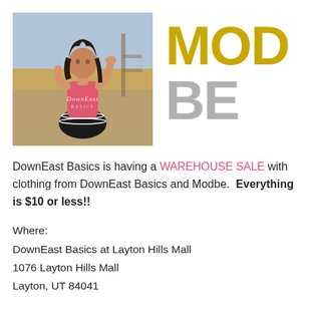[Figure (photo): Woman in pink top and black skirt standing in a field, DownEast Basics logo overlaid on photo]
[Figure (logo): MOD BE logo with MOD in gold/yellow and BE in gray large bold text]
DownEast Basics is having a WAREHOUSE SALE with clothing from DownEast Basics and Modbe.  Everything is $10 or less!!
Where:
DownEast Basics at Layton Hills Mall
1076 Layton Hills Mall
Layton, UT 84041